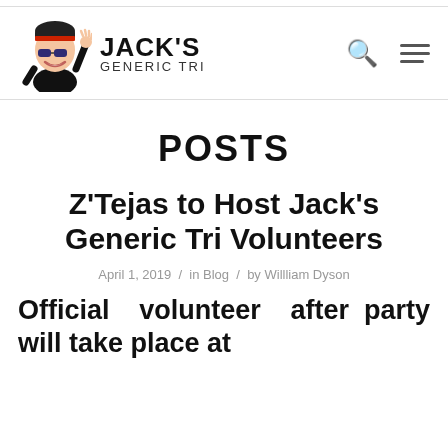JACK'S GENERIC TRI
POSTS
Z'Tejas to Host Jack's Generic Tri Volunteers
April 1, 2019 / in Blog / by Willliam Dyson
Official volunteer after party will take place at